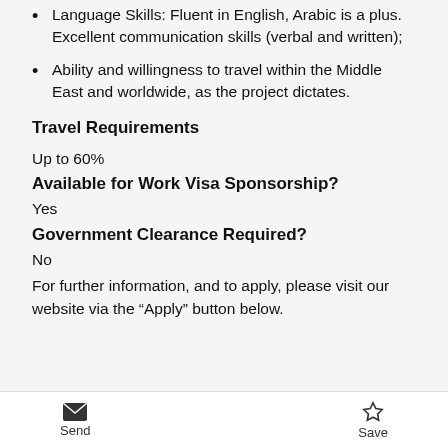Language Skills: Fluent in English, Arabic is a plus. Excellent communication skills (verbal and written);
Ability and willingness to travel within the Middle East and worldwide, as the project dictates.
Travel Requirements
Up to 60%
Available for Work Visa Sponsorship?
Yes
Government Clearance Required?
No
For further information, and to apply, please visit our website via the “Apply” button below.
Send  Save